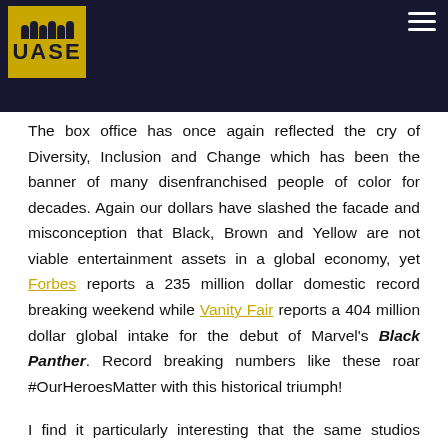[Figure (screenshot): Website header with UASE logo (gold background with dark text) on a dark sci-fi background image, and a hamburger menu icon on the top right.]
The box office has once again reflected the cry of Diversity, Inclusion and Change which has been the banner of many disenfranchised people of color for decades. Again our dollars have slashed the facade and misconception that Black, Brown and Yellow are not viable entertainment assets in a global economy, yet Forbes reports a 235 million dollar domestic record breaking weekend while Vanity Fair reports a 404 million dollar global intake for the debut of Marvel's Black Panther. Record breaking numbers like these roar #OurHeroesMatter with this historical triumph!
I find it particularly interesting that the same studios responsible for the strategic demise of non-White